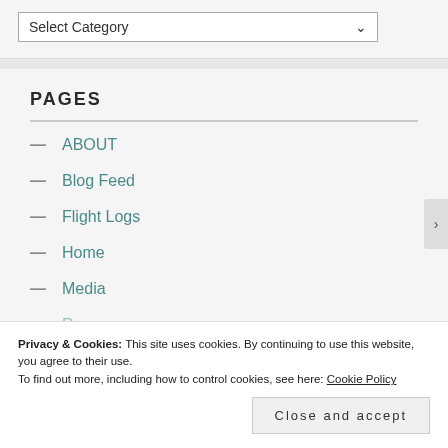Select Category
PAGES
ABOUT
Blog Feed
Flight Logs
Home
Media
Privacy & Cookies: This site uses cookies. By continuing to use this website, you agree to their use.
To find out more, including how to control cookies, see here: Cookie Policy
Close and accept